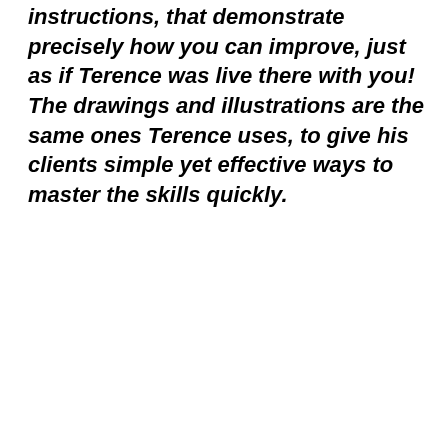instructions, that demonstrate precisely how you can improve, just as if Terence was live there with you! The drawings and illustrations are the same ones Terence uses, to give his clients simple yet effective ways to master the skills quickly.